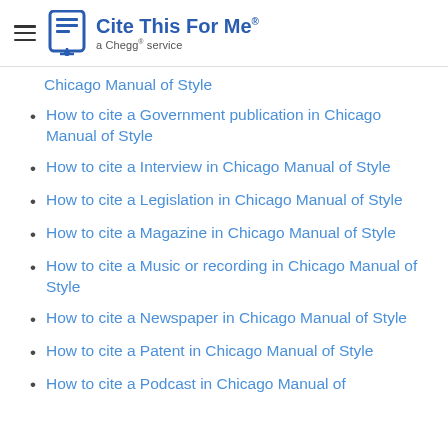[Figure (logo): Cite This For Me logo - a Chegg service, with hamburger menu icon on the left]
Chicago Manual of Style
How to cite a Government publication in Chicago Manual of Style
How to cite a Interview in Chicago Manual of Style
How to cite a Legislation in Chicago Manual of Style
How to cite a Magazine in Chicago Manual of Style
How to cite a Music or recording in Chicago Manual of Style
How to cite a Newspaper in Chicago Manual of Style
How to cite a Patent in Chicago Manual of Style
How to cite a Podcast in Chicago Manual of Style